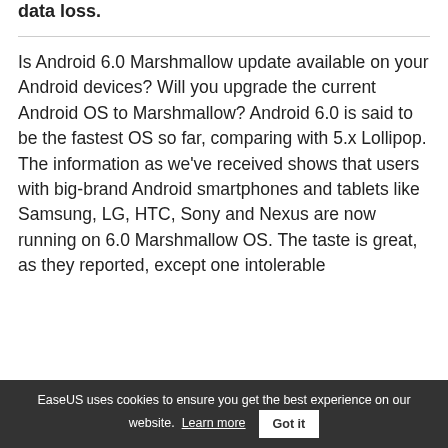data loss.
Is Android 6.0 Marshmallow update available on your Android devices? Will you upgrade the current Android OS to Marshmallow? Android 6.0 is said to be the fastest OS so far, comparing with 5.x Lollipop. The information as we've received shows that users with big-brand Android smartphones and tablets like Samsung, LG, HTC, Sony and Nexus are now running on 6.0 Marshmallow OS. The taste is great, as they reported, except one intolerable messages customers/millions/devices by
EaseUS uses cookies to ensure you get the best experience on our website. Learn more  Got it